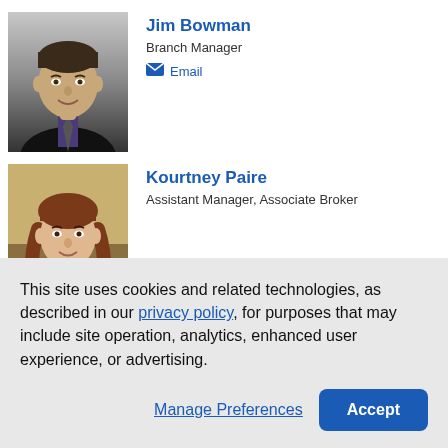[Figure (photo): Headshot photo of Jim Bowman, a man in a dark suit and purple shirt]
Jim Bowman
Branch Manager
Email
[Figure (photo): Headshot photo of Kourtney Paire, a woman with auburn hair]
Kourtney Paire
Assistant Manager, Associate Broker
This site uses cookies and related technologies, as described in our privacy policy, for purposes that may include site operation, analytics, enhanced user experience, or advertising.
Manage Preferences
Accept